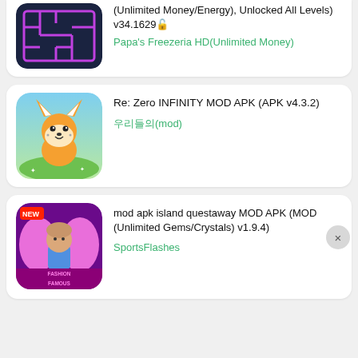[Figure (screenshot): App listing card (partial, top): puzzle maze game app icon with purple neon lines on dark background. Title text: (Unlimited Money/Energy), Unlocked All Levels) v34.1629. Subtitle: Papa's Freezeria HD(Unlimited Money)]
(Unlimited Money/Energy), Unlocked All Levels)
v34.1629
Papa's Freezeria HD(Unlimited Money)
[Figure (screenshot): App listing card: Re: Zero INFINITY game app icon showing a cartoon orange fox on green/blue background. Title: Re: Zero INFINITY MOD APK (APK v4.3.2). Subtitle: 우리들의(mod)]
Re: Zero INFINITY MOD APK (APK v4.3.2)
우리들의(mod)
[Figure (screenshot): App listing card (partial): Fashion Famous game app icon showing a fairy character with pink wings, text FASHION FAMOUS, NEW badge. Title: mod apk island questaway MOD APK (MOD (Unlimited Gems/Crystals) v1.9.4). Subtitle: SportsFlashes]
mod apk island questaway MOD APK (MOD (Unlimited Gems/Crystals) v1.9.4)
SportsFlashes